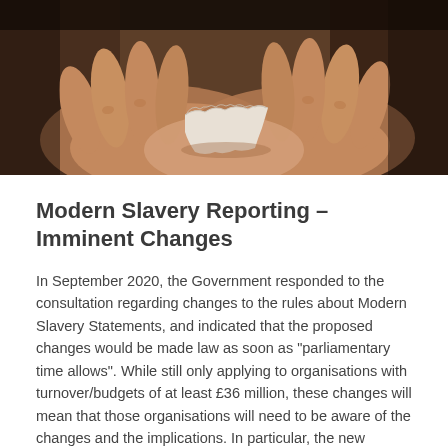[Figure (photo): Close-up photograph of cupped hands holding a torn piece of paper, dark moody tones with brown and grey hues.]
Modern Slavery Reporting – Imminent Changes
In September 2020, the Government responded to the consultation regarding changes to the rules about Modern Slavery Statements, and indicated that the proposed changes would be made law as soon as "parliamentary time allows".  While still only applying to organisations with turnover/budgets of at least £36 million, these changes will mean that those organisations will need to be aware of the changes and the implications.  In particular, the new regulations will bring public sector bodies within the requirements for the first time.